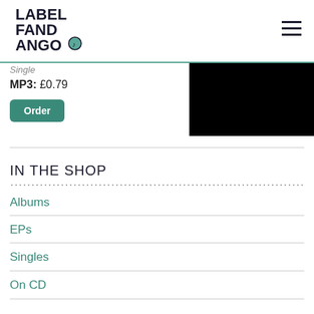LABEL FANDANGO
Single
MP3: £0.79
[Figure (other): Black rectangle image placeholder]
Order
IN THE SHOP
Albums
EPs
Singles
On CD